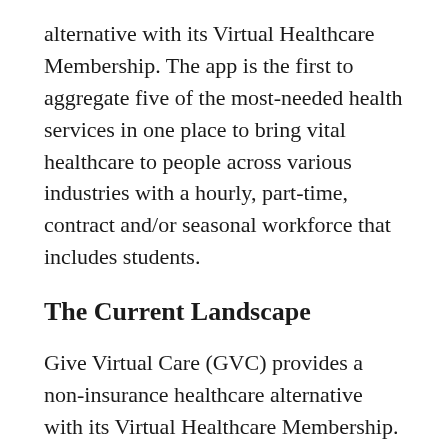alternative with its Virtual Healthcare Membership. The app is the first to aggregate five of the most-needed health services in one place to bring vital healthcare to people across various industries with a hourly, part-time, contract and/or seasonal workforce that includes students.
The Current Landscape
Give Virtual Care (GVC) provides a non-insurance healthcare alternative with its Virtual Healthcare Membership. The app is the first to aggregate five of the most-needed health services in